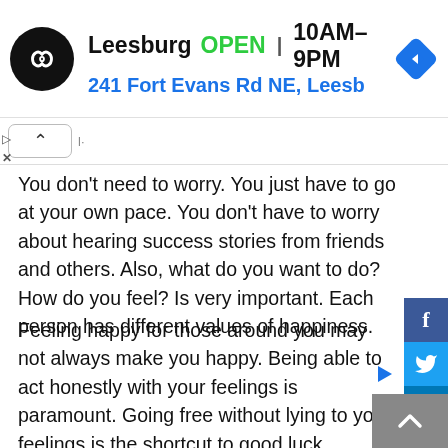[Figure (screenshot): Ad banner showing Leesburg store: logo (black circle with infinity symbol), store name 'Leesburg', status 'OPEN', hours '10AM-9PM', address '241 Fort Evans Rd NE, Leesb', and blue navigation diamond icon]
[Figure (screenshot): Collapse button (chevron up) and partial tab text]
[Figure (screenshot): Social sharing sidebar with Facebook, Twitter, LinkedIn, Pinterest, Reddit, and Mix buttons]
You don't need to worry. You just have to go at your own pace. You don't have to worry about hearing success stories from friends and others. Also, what do you want to do? How do you feel? Is very important. Each person has different values of happiness.
Feeling happy for those around you may not always make you happy. Being able to act honestly with your feelings is paramount. Going free without lying to your feelings is the shortcut to good luck.
[Figure (screenshot): Gray scroll-to-top button with upward chevron]